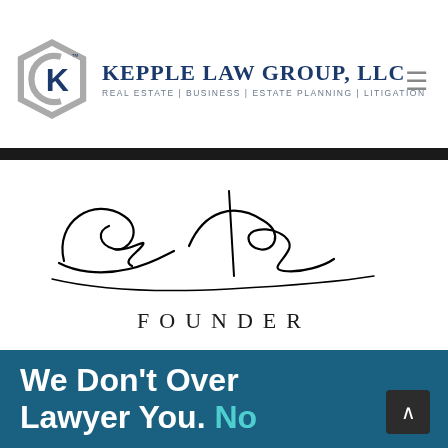[Figure (logo): Kepple Law Group LLC logo with hexagonal K icon and firm name with tagline: Real Estate | Business | Estate Planning | Litigation]
[Figure (illustration): Cursive signature reading 'Casey Kepple' with 'FOUNDER' printed below in spaced capital letters]
We Don't Over Lawyer You. No